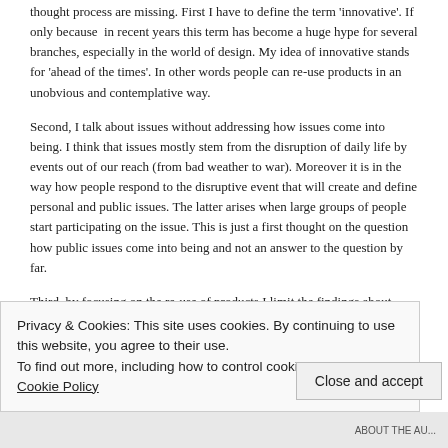thought process are missing. First I have to define the term 'innovative'. If only because in recent years this term has become a huge hype for several branches, especially in the world of design. My idea of innovative stands for 'ahead of the times'. In other words people can re-use products in an unobvious and contemplative way.
Second, I talk about issues without addressing how issues come into being. I think that issues mostly stem from the disruption of daily life by events out of our reach (from bad weather to war). Moreover it is in the way how people respond to the disruptive event that will create and define personal and public issues. The latter arises when large groups of people start participating on the issue. This is just a first thought on the question how public issues come into being and not an answer to the question by far.
Third, by focusing on the re-use of products I limit the findings about unobvious and contemplative ways of dealing with material circumstances too much. This is because a product might only function as a tool during the process of creativity when people create things. The
Privacy & Cookies: This site uses cookies. By continuing to use this website, you agree to their use.
To find out more, including how to control cookies, see here: Cookie Policy
Close and accept